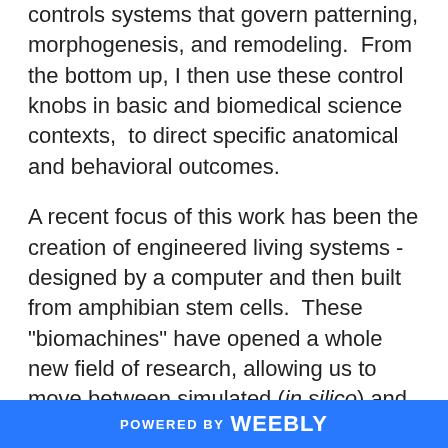controls systems that govern patterning, morphogenesis, and remodeling.  From the bottom up, I then use these control knobs in basic and biomedical science contexts,  to direct specific anatomical and behavioral outcomes.

A recent focus of this work has been the creation of engineered living systems - designed by a computer and then built from amphibian stem cells.  These "biomachines" have opened a whole new field of research, allowing us to move between simulated (in silico) and biological (in vivo) worlds and answer a number of fundamental questions about biological control
POWERED BY weebly